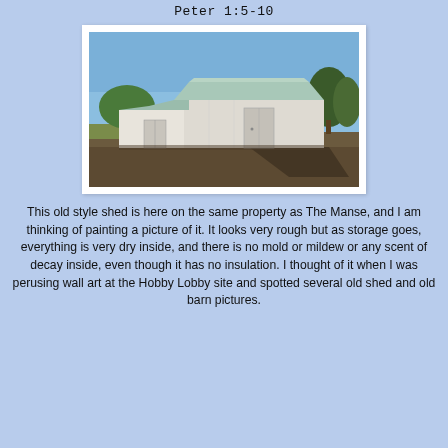Peter 1:5-10
[Figure (photo): A white old-style shed/barn with a light blue metal roof, set on a grassy/dirt area with trees in the background and clear blue sky above.]
This old style shed is here on the same property as The Manse, and I am thinking of painting a picture of it.  It looks very rough but as storage goes, everything is very dry inside, and there is no mold or mildew or any scent of decay inside, even though it has no insulation. I thought of it when I was perusing wall art at the Hobby Lobby site and spotted several old shed and old barn pictures.